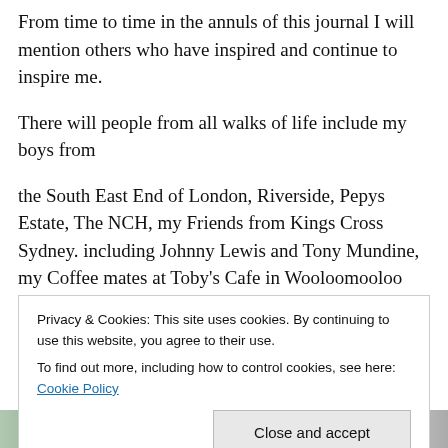From time to time in the annuls of this journal I will mention others who have inspired and continue to inspire me.
There will people from all walks of life include my boys from
the South East End of London, Riverside, Pepys Estate, The NCH, my Friends from Kings Cross Sydney. including Johnny Lewis and Tony Mundine, my Coffee mates at Toby's Cafe in Wooloomooloo and some of my great friends in Canberra including Mark, Carolyne and Eva who
Privacy & Cookies: This site uses cookies. By continuing to use this website, you agree to their use.
To find out more, including how to control cookies, see here: Cookie Policy
Close and accept
[Figure (photo): Partial photo strip visible at the bottom of the page]